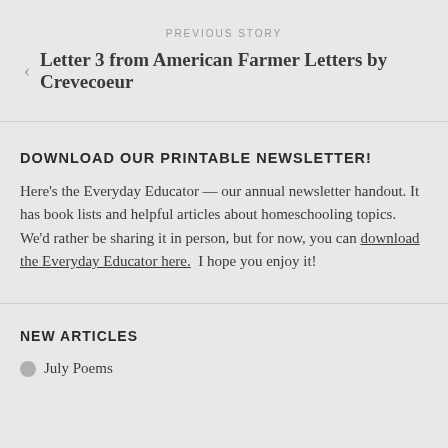PREVIOUS STORY
Letter 3 from American Farmer Letters by Crevecoeur
DOWNLOAD OUR PRINTABLE NEWSLETTER!
Here's the Everyday Educator — our annual newsletter handout. It has book lists and helpful articles about homeschooling topics. We'd rather be sharing it in person, but for now, you can download the Everyday Educator here.  I hope you enjoy it!
NEW ARTICLES
July Poems